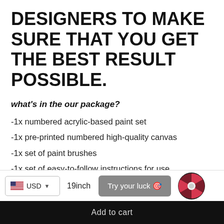DESIGNERS TO MAKE SURE THAT YOU GET THE BEST RESULT POSSIBLE.
what's in the our package?
-1x numbered acrylic-based paint set
-1x pre-printed numbered high-quality canvas
-1x set of paint brushes
-1x set of easy-to-follow instructions for use
**Frame not included**
[Figure (screenshot): Bottom bar UI with USD currency selector, 19inch size label, 'Try your luck' button, spinning wheel icon, and 'Add to cart' text on dark background]